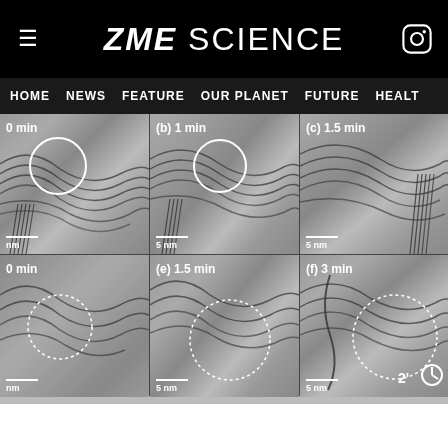ZME SCIENCE
[Figure (screenshot): ZME Science website navigation bar showing HOME, NEWS, FEATURE, OUR PLANET, FUTURE, HEALTH menu items]
[Figure (photo): 6-panel TEM (transmission electron microscopy) image grid showing electron microscopy images at different time points. Top row: (a) 0 min with white circle overlay, (b) 1 min with white circle overlay, (c) 1.5 min. Bottom row: (d) 0 min with dotted circle overlay, (e) 1.5 min with dotted circle overlay, (f) 3 min with dotted circle overlay. All images show scale bars of 5 nm. A 2 minute timer icon is visible on the bottom right.]